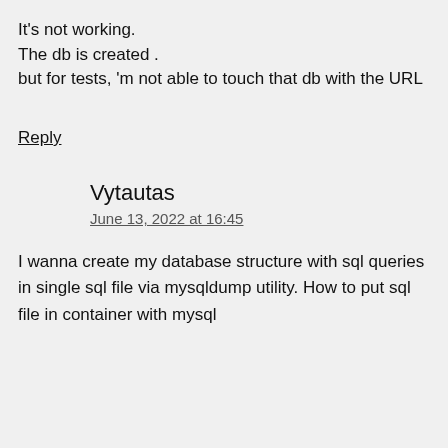It's not working.
The db is created .
but for tests, 'm not able to touch that db with the URL
Reply
Vytautas
June 13, 2022 at 16:45
I wanna create my database structure with sql queries in single sql file via mysqldump utility. How to put sql file in container with mysql